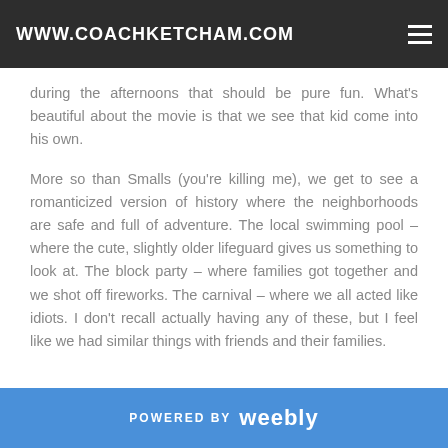WWW.COACHKETCHAM.COM
during the afternoons that should be pure fun. What's beautiful about the movie is that we see that kid come into his own.
More so than Smalls (you're killing me), we get to see a romanticized version of history where the neighborhoods are safe and full of adventure. The local swimming pool – where the cute, slightly older lifeguard gives us something to look at. The block party – where families got together and we shot off fireworks. The carnival – where we all acted like idiots. I don't recall actually having any of these, but I feel like we had similar things with friends and their families.
POWERED BY weebly